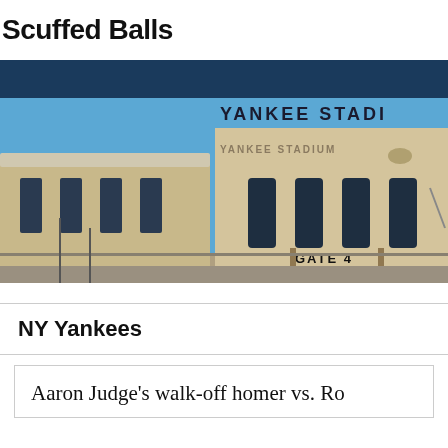Scuffed Balls
[Figure (photo): Exterior photograph of Yankee Stadium showing the stone facade with 'YANKEE STADIUM' lettering, arched windows, Gate 4 entrance, blue sky background.]
NY Yankees
Aaron Judge's walk-off homer vs. Ro